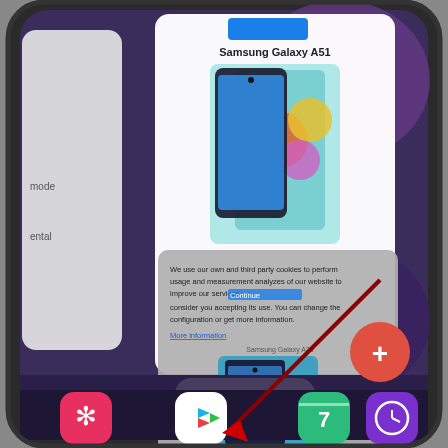[Figure (screenshot): A Samsung Android smartphone showing the Recent Apps / multitasking screen. The phone has a dark purple/blue wallpaper. In the recent apps view, two app cards are visible: one showing a Samsung Galaxy A51 product page (white card at top with phone image and product name), and another partially visible card showing a cookie consent popup overlay on a Samsung Galaxy A20 product page. At the bottom center of the multitasking screen is a 'Close all' pill button. In the bottom navigation/dock area, four app icons are visible: a pink Snowflake/Asterisk icon, a Google Play Store triangle icon, a green Calendar app icon, and a purple Clock icon. A red/dark arrow points diagonally from upper right toward the Google Play Store icon. A red floating action button with a '+' sign is in the lower right area of the screen.]